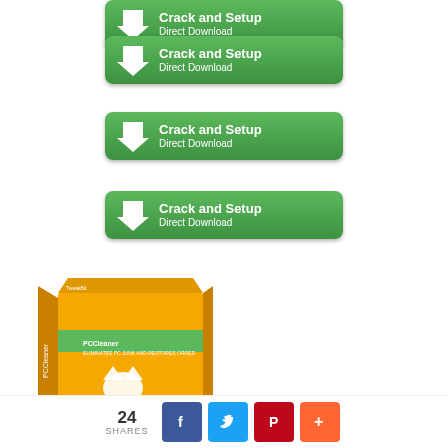[Figure (illustration): Green download button (partially visible at top): Crack and Setup / Direct Download]
[Figure (illustration): Green download button: Crack and Setup / Direct Download]
[Figure (illustration): Green download button: Crack and Setup / Direct Download]
[Figure (illustration): Green download button: Crack and Setup / Direct Download]
[Figure (illustration): PCCleaner software box product image, orange and green packaging]
24 SHARES
[Figure (illustration): Social sharing bar with Facebook, Twitter, Pinterest, and plus buttons]